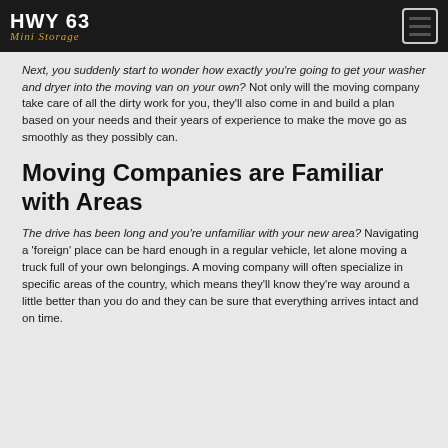HWY 63 Mini Storage
Next, you suddenly start to wonder how exactly you're going to get your washer and dryer into the moving van on your own? Not only will the moving company take care of all the dirty work for you, they'll also come in and build a plan based on your needs and their years of experience to make the move go as smoothly as they possibly can.
Moving Companies are Familiar with Areas
The drive has been long and you're unfamiliar with your new area? Navigating a 'foreign' place can be hard enough in a regular vehicle, let alone moving a truck full of your own belongings. A moving company will often specialize in specific areas of the country, which means they'll know they're way around a little better than you do and they can be sure that everything arrives intact and on time.